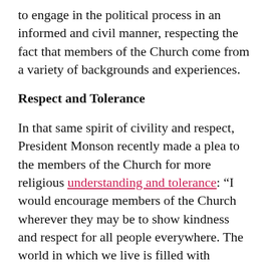to engage in the political process in an informed and civil manner, respecting the fact that members of the Church come from a variety of backgrounds and experiences.
Respect and Tolerance
In that same spirit of civility and respect, President Monson recently made a plea to the members of the Church for more religious understanding and tolerance: “I would encourage members of the Church wherever they may be to show kindness and respect for all people everywhere. The world in which we live is filled with diversity. We can and should…